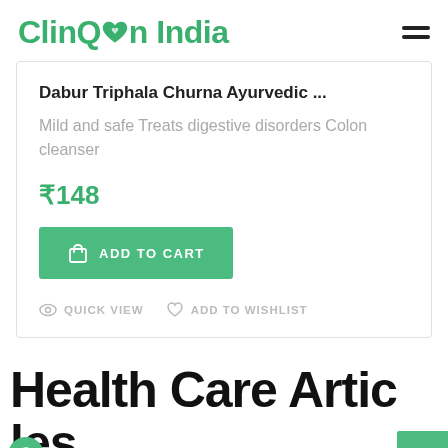ClinQon India
Dabur Triphala Churna Ayurvedic ...
Mild and safe Treats digestive disorders Colon cleanser
₹148
ADD TO CART
QUICK VIEW  ADD TO WISHLIST
Health Care Articles & Ti...